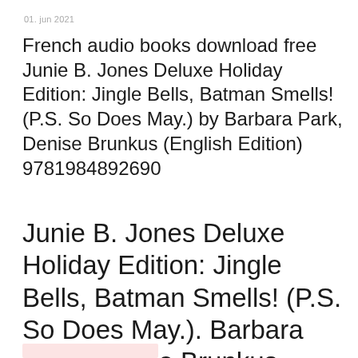01. jun 2021
French audio books download free Junie B. Jones Deluxe Holiday Edition: Jingle Bells, Batman Smells! (P.S. So Does May.) by Barbara Park, Denise Brunkus (English Edition) 9781984892690
Junie B. Jones Deluxe Holiday Edition: Jingle Bells, Batman Smells! (P.S. So Does May.). Barbara Park, Denise Brunkus